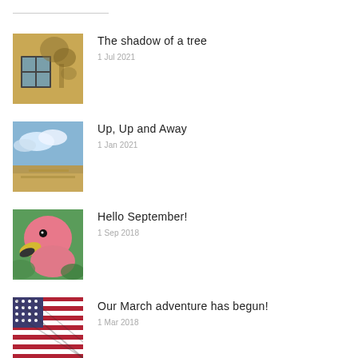The shadow of a tree
1 Jul 2021
Up, Up and Away
1 Jan 2021
Hello September!
1 Sep 2018
Our March adventure has begun!
1 Mar 2018